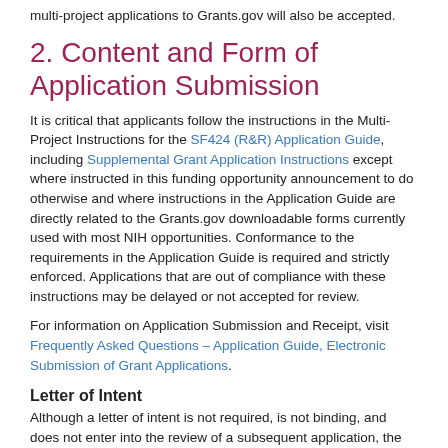multi-project applications to Grants.gov will also be accepted.
2. Content and Form of Application Submission
It is critical that applicants follow the instructions in the Multi-Project Instructions for the SF424 (R&R) Application Guide, including Supplemental Grant Application Instructions except where instructed in this funding opportunity announcement to do otherwise and where instructions in the Application Guide are directly related to the Grants.gov downloadable forms currently used with most NIH opportunities. Conformance to the requirements in the Application Guide is required and strictly enforced. Applications that are out of compliance with these instructions may be delayed or not accepted for review.
For information on Application Submission and Receipt, visit Frequently Asked Questions – Application Guide, Electronic Submission of Grant Applications.
Letter of Intent
Although a letter of intent is not required, is not binding, and does not enter into the review of a subsequent application, the information that it contains allows IC staff to estimate the potential review workload